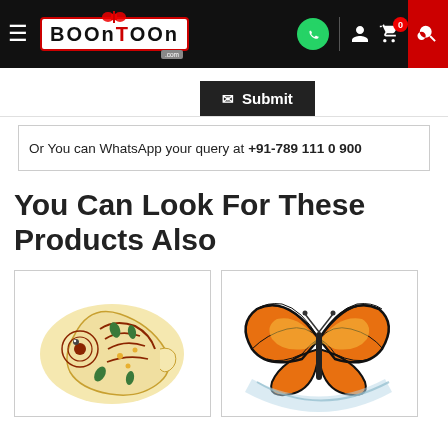Boontoon - navigation bar with logo, WhatsApp icon, user icon, cart icon (badge: 0), search icon
[Figure (screenshot): Submit button with envelope icon on dark background]
Or You can WhatsApp your query at +91-789 111 0 900
You Can Look For These Products Also
[Figure (photo): Meenakari / enamel decorative conch (shankh) shaped trinket box with floral motifs in red, green on cream/white background]
[Figure (photo): Butterfly shaped decorative tray/box with orange and black butterfly design on transparent acrylic base]